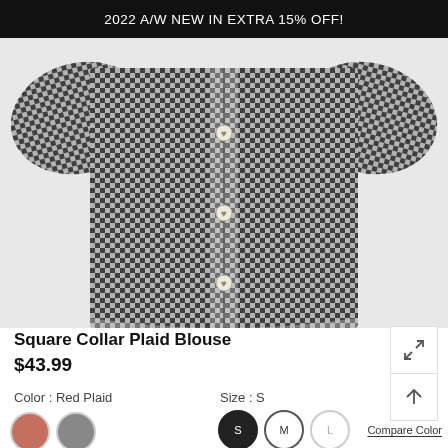2022 A/W NEW IN EXTRA 15% OFF!
[Figure (photo): Product photo of a Square Collar Plaid Blouse with gingham/checkered black and white pattern, showing the torso area with decorative heart-shaped buttons down the front and puffed sleeves.]
Square Collar Plaid Blouse
$43.99
Color : Red Plaid
Size : S